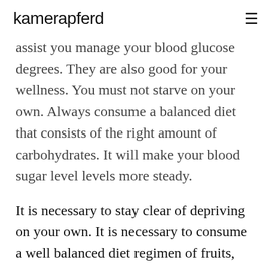kamerapferd
assist you manage your blood glucose degrees. They are also good for your wellness. You must not starve on your own. Always consume a balanced diet that consists of the right amount of carbohydrates. It will make your blood sugar level levels more steady.
It is necessary to stay clear of depriving on your own. It is necessary to consume a well balanced diet regimen of fruits, veggies, as well as whole grains. This will certainly make sure that your blood sugar level stays